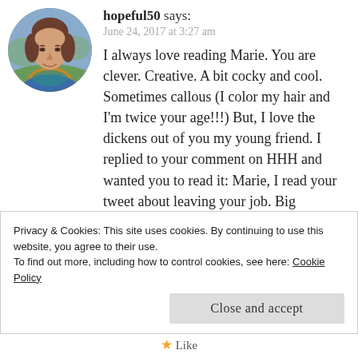[Figure (photo): Round avatar photo of a middle-aged woman with short brown hair, wearing a blue/teal top, with a blurred outdoor background.]
hopeful50 says:
June 24, 2017 at 3:27 am
I always love reading Marie. You are clever. Creative. A bit cocky and cool. Sometimes callous (I color my hair and I'm twice your age!!!) But, I love the dickens out of you my young friend. I replied to your comment on HHH and wanted you to read it: Marie, I read your tweet about leaving your job. Big adjustment but you do have a Big God who will walk
Privacy & Cookies: This site uses cookies. By continuing to use this website, you agree to their use.
To find out more, including how to control cookies, see here: Cookie Policy
Close and accept
Like